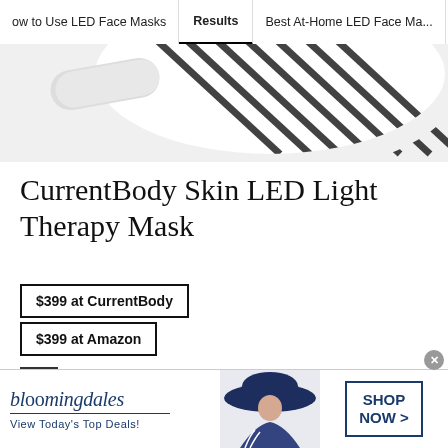How to Use LED Face Masks | Results | Best At-Home LED Face Ma...
[Figure (photo): Partial view of a white LED face mask with black diagonal stripe pattern on the panel surface]
CurrentBody Skin LED Light Therapy Mask
$399 at CurrentBody
$399 at Amazon
This mask's patented silicone makes it a standout amongst the pack. Its flexibility means the mask's red and infrared lights can hit and treat every contour of the face, making it more effective
[Figure (photo): Bloomingdale's advertisement banner with woman wearing a large navy blue hat, shop now button, and View Today's Top Deals tagline]